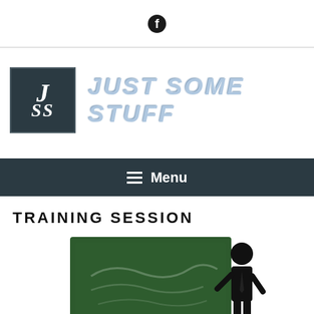Facebook icon (social link)
[Figure (logo): JSS logo: dark teal square with white italic J and ss letters, beside 'JUST SOME STUFF' text in metallic blue italic font]
≡ Menu
TRAINING SESSION
[Figure (illustration): Illustration of a training session: a person in silhouette standing next to a green chalkboard, with silhouette heads of audience members in the foreground]